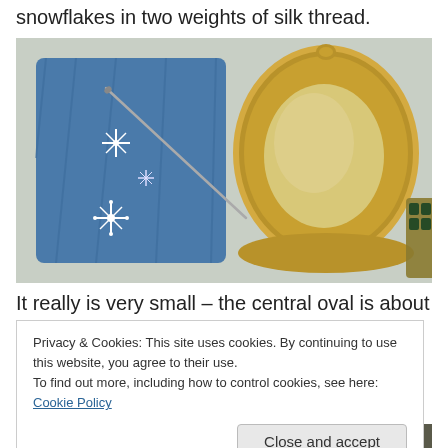snowflakes in two weights of silk thread.
[Figure (photo): A blue felt needle book/pincushion with embroidered white snowflakes and a needle inserted, next to an open ornate gold oval locket, on a white textured fabric background with jewelry visible at the edge.]
It really is very small – the central oval is about 2cm by
Privacy & Cookies: This site uses cookies. By continuing to use this website, you agree to their use.
To find out more, including how to control cookies, see here: Cookie Policy
Close and accept
[Figure (photo): Partial view of another photo at the bottom of the page, showing a gold-colored object on a dark background.]